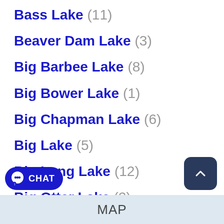Bass Lake (11)
Beaver Dam Lake (3)
Big Barbee Lake (8)
Big Bower Lake (1)
Big Chapman Lake (6)
Big Lake (5)
Big Long Lake (12)
Big Otter Lake (2)
Big Turkey Lake (9)
Otter Lake (2)
MAP